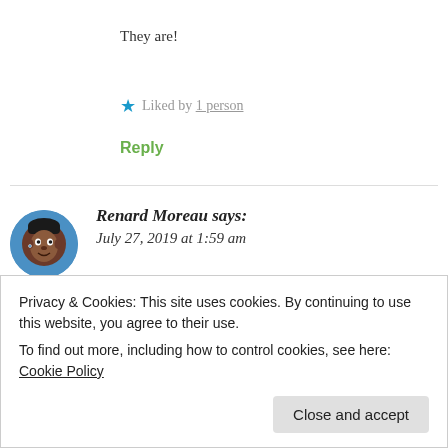They are!
★ Liked by 1 person
Reply
[Figure (illustration): Circular avatar of Renard Moreau, an illustrated cartoon face of a dark-skinned man with short black hair, on a blue circular background]
Renard Moreau says:
July 27, 2019 at 1:59 am
😶 Everyone loves chocolate and the best part is
Privacy & Cookies: This site uses cookies. By continuing to use this website, you agree to their use.
To find out more, including how to control cookies, see here: Cookie Policy
Close and accept